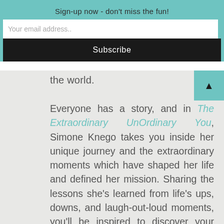Sign-up now - don't miss the fun!
Your email address..
Subscribe
the world.
Everyone has a story, and in The Extraordinary UnOrdinary You, Simone Knego takes you inside her unique journey and the extraordinary moments which have shaped her life and defined her mission. Sharing the lessons she's learned from life's ups, downs, and laugh-out-loud moments, you'll be inspired to discover your own journey, and to go out into the world and be the